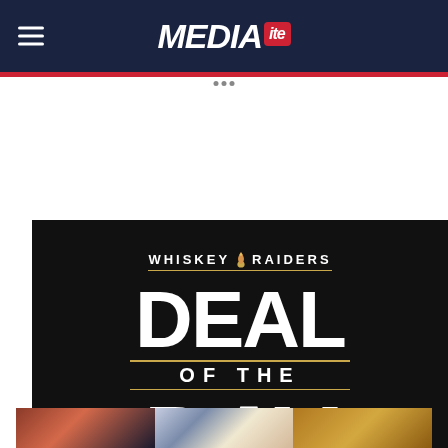MEDIAITE
[Figure (logo): Whiskey Raiders Deal of the Day promotional image on dark background with large white bold text reading DEAL OF THE DAY and a flame logo icon]
[Figure (photo): Bottom strip of three photos showing whiskey bottles and glasses]